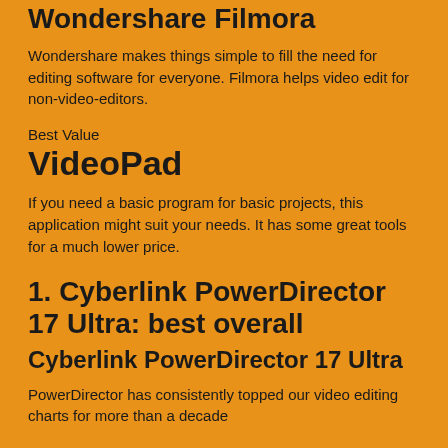Wondershare Filmora
Wondershare makes things simple to fill the need for editing software for everyone. Filmora helps video edit for non-video-editors.
Best Value
VideoPad
If you need a basic program for basic projects, this application might suit your needs. It has some great tools for a much lower price.
1. Cyberlink PowerDirector 17 Ultra: best overall
Cyberlink PowerDirector 17 Ultra
PowerDirector has consistently topped our video editing charts for more than a decade